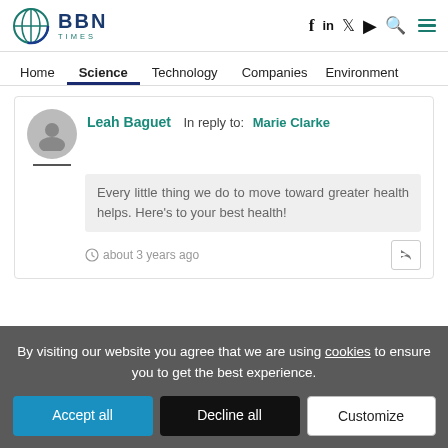BBN TIMES — navigation header with social icons
Home | Science (active) | Technology | Companies | Environment
Leah Baguet — In reply to: Marie Clarke — Every little thing we do to move toward greater health helps. Here's to your best health! — about 3 years ago
By visiting our website you agree that we are using cookies to ensure you to get the best experience. [Accept all] [Decline all] [Customize]